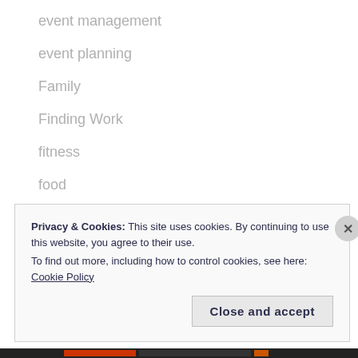event management
event planning
Family
Finding Work
fitness
food
fun
Getting started
Privacy & Cookies: This site uses cookies. By continuing to use this website, you agree to their use.
To find out more, including how to control cookies, see here: Cookie Policy